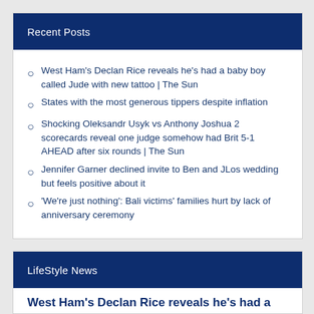Recent Posts
West Ham's Declan Rice reveals he's had a baby boy called Jude with new tattoo | The Sun
States with the most generous tippers despite inflation
Shocking Oleksandr Usyk vs Anthony Joshua 2 scorecards reveal one judge somehow had Brit 5-1 AHEAD after six rounds | The Sun
Jennifer Garner declined invite to Ben and JLos wedding but feels positive about it
'We're just nothing': Bali victims' families hurt by lack of anniversary ceremony
LifeStyle News
West Ham's Declan Rice reveals he's had a